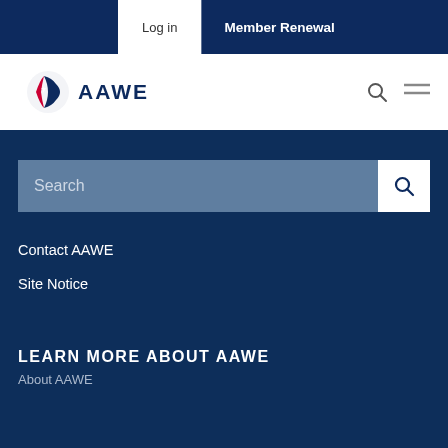Log in | Member Renewal
[Figure (logo): AAWE logo with stylized star/flag icon and AAWE text in dark blue]
Search
Contact AAWE
Site Notice
LEARN MORE ABOUT AAWE
About AAWE